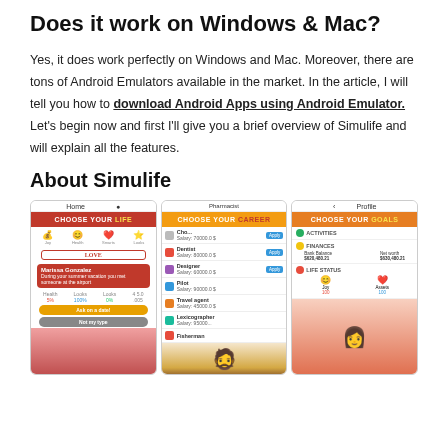Does it work on Windows & Mac?
Yes, it does work perfectly on Windows and Mac. Moreover, there are tons of Android Emulators available in the market. In the article, I will tell you how to download Android Apps using Android Emulator. Let’s begin now and first I’ll give you a brief overview of Simulife and will explain all the features.
About Simulife
[Figure (screenshot): Three mobile app screenshots of the Simulife game showing: (1) Choose Your Life screen with love/health stats and a character interaction card, (2) Choose Your Career screen listing jobs like Pharmacist, Dentist, Designer, Pilot, Travel agent, Lexicographer, Fisherman with Apply buttons, (3) Choose Your Goals screen with Activities, Finances (Bank Balance $620,480.21, Net worth $630,480.21), and Life Status sections.]